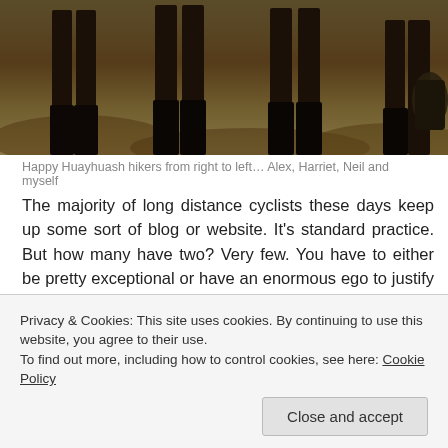[Figure (photo): Silhouetted lower bodies of four hikers standing on rocky terrain with warm golden-brown tones]
Happy Huayhuash hikers from right to left… Alex, Harriet, Neil and myself
The majority of long distance cyclists these days keep up some sort of blog or website. It's standard practice. But how many have two? Very few. You have to either be pretty exceptional or have an enormous ego to justify two. Humble adventure heroes Neil and Harriet Pike have two websites; their exploits could justify three. Their pioneering and bold Andes by Bike routes will form the basis of my next few months travel south while their personal Pikes on Bikes blog gives invaluable tidbits on the art of lightweight bike adventure. These guys are the very definition of gnarly rough riders. Colossal figures in the minds of today's South American dirt road adventure bicyclists. In the Puna of NW Argentina they
Privacy & Cookies: This site uses cookies. By continuing to use this website, you agree to their use.
To find out more, including how to control cookies, see here: Cookie Policy
Close and accept